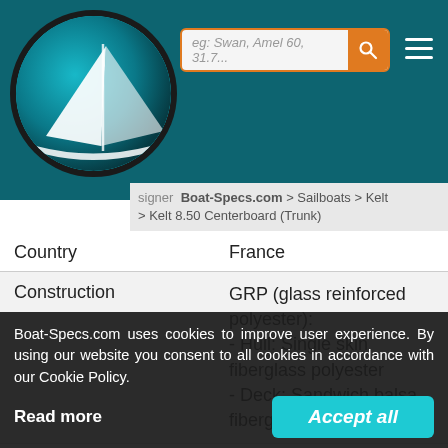[Figure (logo): Boat-Specs.com logo: circular teal sailboat icon with dark border]
[Figure (screenshot): Search bar with placeholder 'eg: Swan, Amel 60, 31.7...' and orange search button, hamburger menu icon]
Boat-Specs.com > Sailboats > Kelt > Kelt 8.50 Centerboard (Trunk)
| Field | Value |
| --- | --- |
| Country | France |
| Construction | GRP (glass reinforced polyester):
- Hull: Single skin fiberglass polyester
- Deck: Sandwich balsa fiberglass polyester |
| Number of hulls built | About 600 |
| First built |  |
| Last built | 1996 |
| Ap... | S... |
| Helm | Single tiller |
Boat-Specs.com uses cookies to improve user experience. By using our website you consent to all cookies in accordance with our Cookie Policy.
Read more
Accept all